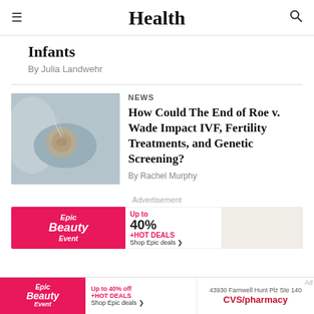Health
Infants
By Julia Landwehr
NEWS
How Could The End of Roe v. Wade Impact IVF, Fertility Treatments, and Genetic Screening?
By Rachel Murphy
[Figure (photo): Close-up of IVF laboratory procedure with gloved hands and petri dish containing embryos]
Advertisement
[Figure (other): Epic Beauty Event advertisement banner - Up to 40% off + HOT DEALS]
[Figure (other): CVS Pharmacy advertisement: 43930 Farnwell Hunt Plz Ste 140]